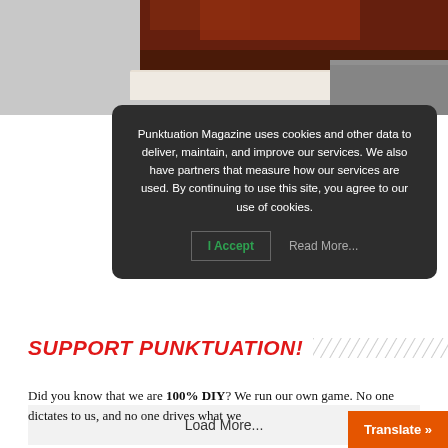[Figure (photo): Partial view of a magazine or photo with dark reddish-brown tones at top, partially obscured by cookie consent dialog]
Punktuation Magazine uses cookies and other data to deliver, maintain, and improve our services. We also have partners that measure how our services are used. By continuing to use this site, you agree to our use of cookies.
I Accept
Read More...
Load More...
SUPPORT PUNKTUATION!
Did you know that we are 100% DIY? We run our own game. No one dictates to us, and no one drives what we
Translate »